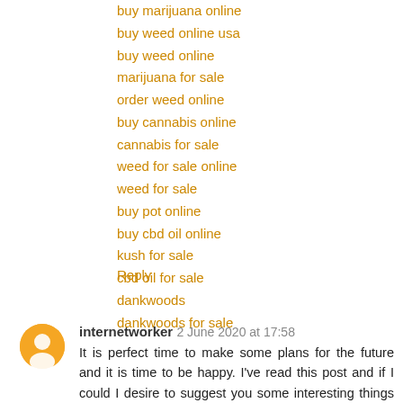buy marijuana online
buy weed online usa
buy weed online
marijuana for sale
order weed online
buy cannabis online
cannabis for sale
weed for sale online
weed for sale
buy pot online
buy cbd oil online
kush for sale
cbd oil for sale
dankwoods
dankwoods for sale
Reply
internetworker 2 June 2020 at 17:58
It is perfect time to make some plans for the future and it is time to be happy. I've read this post and if I could I desire to suggest you some interesting things or suggestions.